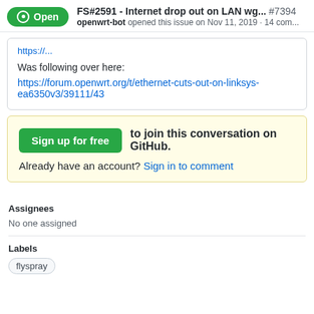Open | FS#2591 - Internet drop out on LAN wg... #7394 | openwrt-bot opened this issue on Nov 11, 2019 · 14 com...
Was following over here:
https://forum.openwrt.org/t/ethernet-cuts-out-on-linksys-ea6350v3/39111/43
Sign up for free to join this conversation on GitHub.
Already have an account? Sign in to comment
Assignees
No one assigned
Labels
flyspray